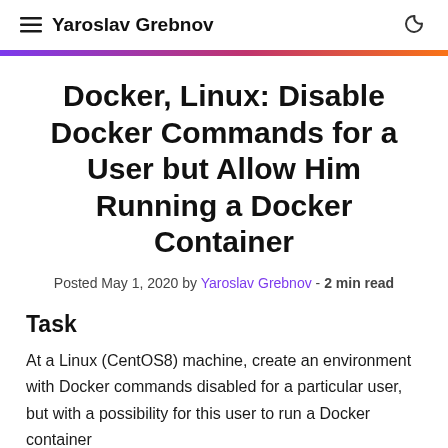≡ Yaroslav Grebnov
Docker, Linux: Disable Docker Commands for a User but Allow Him Running a Docker Container
Posted May 1, 2020 by Yaroslav Grebnov · 2 min read
Task
At a Linux (CentOS8) machine, create an environment with Docker commands disabled for a particular user, but with a possibility for this user to run a Docker container